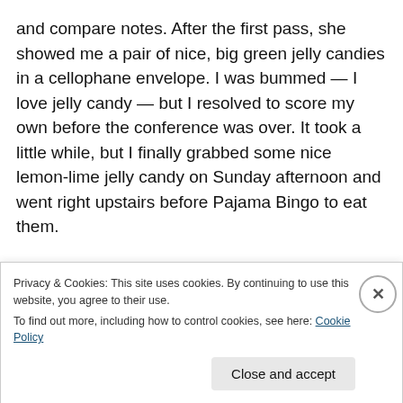and compare notes. After the first pass, she showed me a pair of nice, big green jelly candies in a cellophane envelope. I was bummed — I love jelly candy — but I resolved to score my own before the conference was over. It took a little while, but I finally grabbed some nice lemon-lime jelly candy on Sunday afternoon and went right upstairs before Pajama Bingo to eat them.
I popped a jelly candy into my mouth and started chewing. Hmm. Not as sweet as I'd expected. But then my palate is not so sophisticated. I kept chewing. Maybe it was a more
Privacy & Cookies: This site uses cookies. By continuing to use this website, you agree to their use.
To find out more, including how to control cookies, see here: Cookie Policy